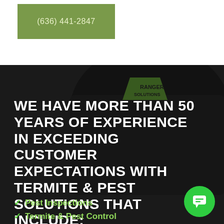(636) 441-2847
[Figure (photo): Dark background photo of a person wearing a black hat with a green 'Ranger Solutions' logo badge on it, overlaid with dark semi-transparent overlay.]
WE HAVE MORE THAN 50 YEARS OF EXPERIENCE IN EXCEEDING CUSTOMER EXPECTATIONS WITH TERMITE & PEST SOLUTIONS THAT INCLUDE:
Pest Inspections
Termite & Pest Control